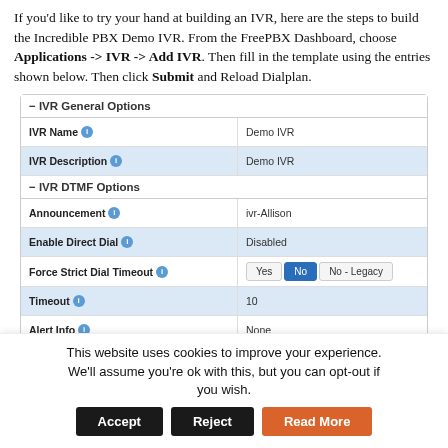If you'd like to try your hand at building an IVR, here are the steps to build the Incredible PBX Demo IVR. From the FreePBX Dashboard, choose Applications -> IVR -> Add IVR. Then fill in the template using the entries shown below. Then click Submit and Reload Dialplan.
| Field | Value |
| --- | --- |
| IVR General Options |  |
| IVR Name | Demo IVR |
| IVR Description | Demo IVR |
| IVR DTMF Options |  |
| Announcement | ivr-Allison |
| Enable Direct Dial | Disabled |
| Force Strict Dial Timeout | Yes / No (selected) / No - Legacy |
| Timeout | 10 |
| Alert Info | None |
This website uses cookies to improve your experience. We'll assume you're ok with this, but you can opt-out if you wish. Accept | Reject | Read More